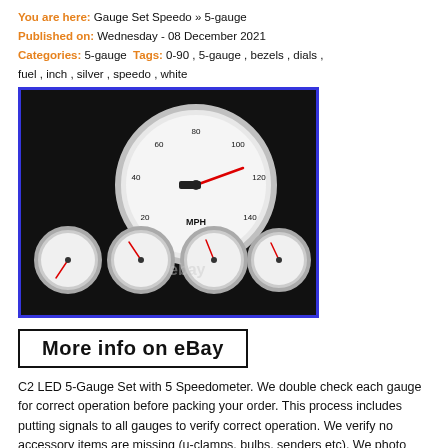You are here: Gauge Set Speedo » 5-gauge
Published on: Wednesday - 08 December 2021
Categories: 5-gauge Tags: 0-90 , 5-gauge , bezels , dials , fuel , inch , silver , speedo , white
[Figure (photo): Photo of a 5-gauge set with a large white-face speedometer (MPH, 0-160) and four smaller white-face gauges mounted on a dark panel, with eBay watermark]
[Figure (screenshot): More info on eBay button image with bold black text on white background with border]
C2 LED 5-Gauge Set with 5 Speedometer. We double check each gauge for correct operation before packing your order. This process includes putting signals to all gauges to verify correct operation. We verify no accessory items are missing (u-clamps, bulbs, senders etc). We photo document your order to ensure completeness. High quality gauges made in Orange County, CA USA. High-speed full sweep stepper motor speedometer. Short sweep electric 2-1/16 gauges (Volts, Oil Pressure, Water Temperature, Fuel Level). Electric programmable speedo with one stop easy calibration and 2 Trip meters. Fuel